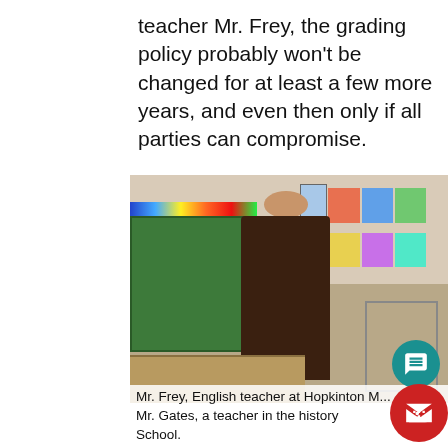teacher Mr. Frey, the grading policy probably won't be changed for at least a few more years, and even then only if all parties can compromise.
[Figure (photo): A male teacher, Mr. Frey, smiling and seated on a desk in a classroom. Behind him are green bulletin boards on the left and student artwork on the right wall. Classroom desks and chairs are visible.]
Mr. Frey, English teacher at Hopkinton M... Mr. Gates, a teacher in the history School.